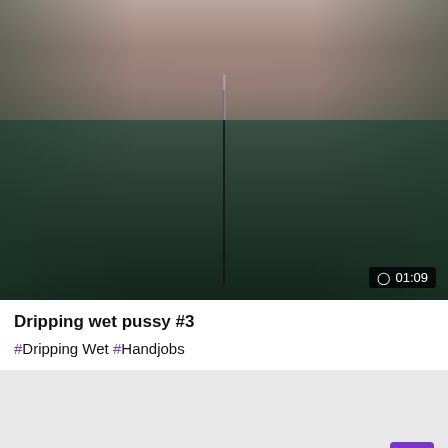[Figure (photo): Video thumbnail showing a close-up photo with a dark background and vertical stripe, with a duration badge showing 01:09 in the bottom right corner]
Dripping wet pussy #3
#Dripping Wet #Handjobs